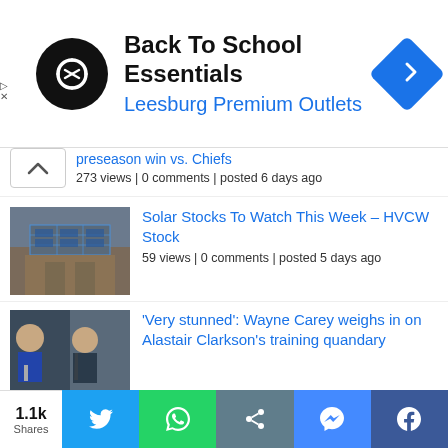[Figure (screenshot): Advertisement banner for Back To School Essentials at Leesburg Premium Outlets with black circular logo and blue navigation diamond icon]
preseason win vs. Chiefs
273 views | 0 comments | posted 6 days ago
[Figure (photo): Thumbnail of house with solar panels on roof]
Solar Stocks To Watch This Week – HVCW Stock
59 views | 0 comments | posted 5 days ago
[Figure (photo): Thumbnail of two men, one in blue suit holding microphone, one in sports jersey]
'Very stunned': Wayne Carey weighs in on Alastair Clarkson's training quandary
48 views | 0 comments | posted 3 days ago
[Figure (photo): Thumbnail of outdoor scene partially visible]
"What the Russian army is
1.1k
Shares